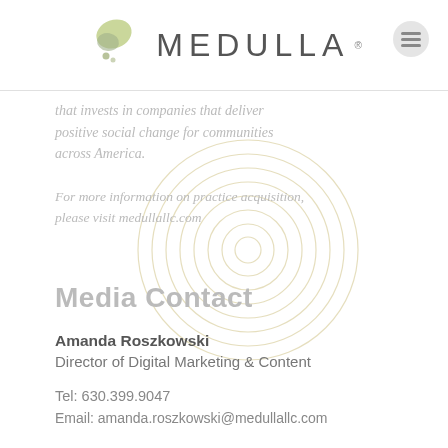[Figure (logo): Medulla logo with green leaf/brain icon and MEDULLA text in grey, plus a menu icon on the right]
that invests in companies that deliver positive social change for communities across America.
[Figure (illustration): Decorative concentric circles watermark in tan/gold color]
For more information on practice acquisition, please visit medullallc.com
Media Contact
Amanda Roszkowski
Director of Digital Marketing & Content

Tel: 630.399.9047
Email: amanda.roszkowski@medullallc.com